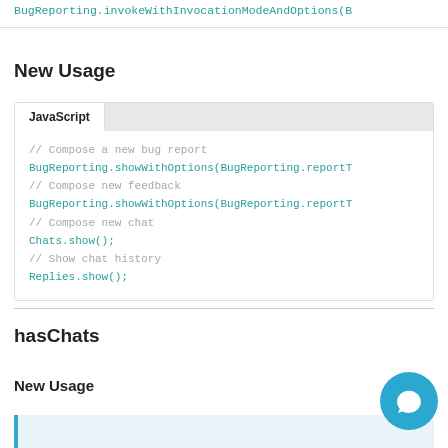BugReporting.invokeWithInvocationModeAndOptions(B
New Usage
[Figure (screenshot): Code block with JavaScript tab showing: // Compose a new bug report, BugReporting.showWithOptions(BugReporting.reportT, // Compose new feedback, BugReporting.showWithOptions(BugReporting.reportT, // Compose new chat, Chats.show();, // Show chat history, Replies.show();]
hasChats
New Usage